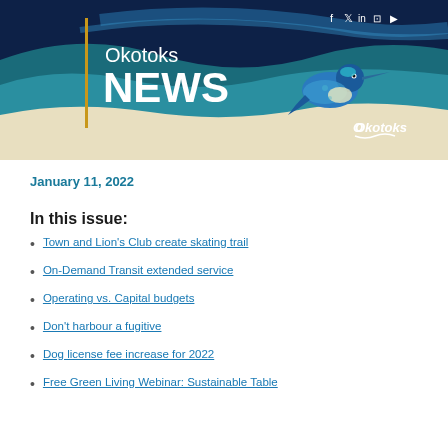[Figure (illustration): Okotoks NEWS newsletter banner with dark navy and teal wave design, kingfisher bird illustration, Okotoks logo, and social media icons (Facebook, Twitter, LinkedIn, Instagram, YouTube). Gold vertical accent line on left side.]
January 11, 2022
In this issue:
Town and Lion's Club create skating trail
On-Demand Transit extended service
Operating vs. Capital budgets
Don't harbour a fugitive
Dog license fee increase for 2022
Free Green Living Webinar: Sustainable Table